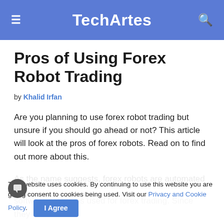TechArtes
Pros of Using Forex Robot Trading
by Khalid Irfan
Are you planning to use forex robot trading but unsure if you should go ahead or not? This article will look at the pros of forex robots. Read on to find out more about this.
As the name suggests, forex robots are automated software programs used for forex trading. Since they are software programs, they cannot do some things that a human trader can do. However, they can do many other things better, and that is why many people
This website uses cookies. By continuing to use this website you are giving consent to cookies being used. Visit our Privacy and Cookie Policy.  I Agree